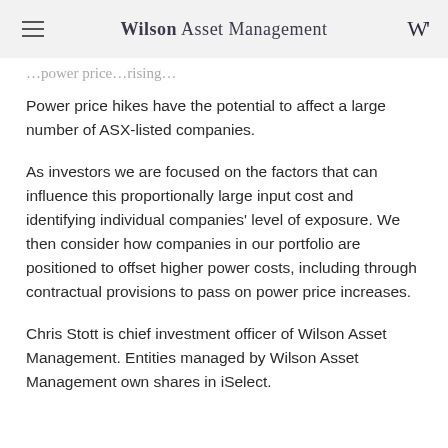Wilson Asset Management
…power price…rising…
Power price hikes have the potential to affect a large number of ASX-listed companies.
As investors we are focused on the factors that can influence this proportionally large input cost and identifying individual companies' level of exposure. We then consider how companies in our portfolio are positioned to offset higher power costs, including through contractual provisions to pass on power price increases.
Chris Stott is chief investment officer of Wilson Asset Management. Entities managed by Wilson Asset Management own shares in iSelect.